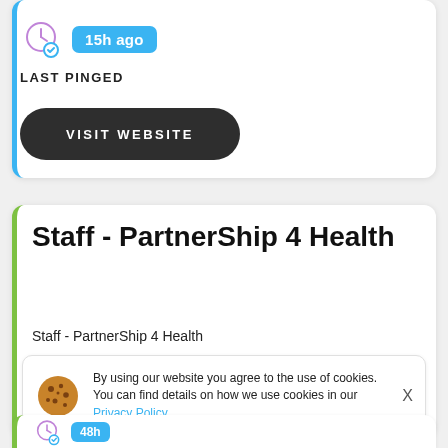15h ago
LAST PINGED
VISIT WEBSITE
Staff - PartnerShip 4 Health
Staff - PartnerShip 4 Health
By using our website you agree to the use of cookies. You can find details on how we use cookies in our Privacy Policy